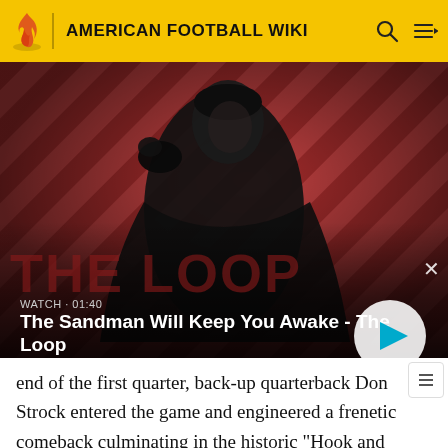AMERICAN FOOTBALL WIKI
[Figure (screenshot): Video thumbnail showing a dark-cloaked figure with a raven on their shoulder against a red diagonal-striped background. Text overlay reads: WATCH · 01:40 / The Sandman Will Keep You Awake - The Loop, with a play button.]
end of the first quarter, back-up quarterback Don Strock entered the game and engineered a frenetic comeback culminating in the historic "Hook and Lateral" play, in which wide receiver Duriel Harris caught a pass from Strock and immediately lateraled the ball to the streaking